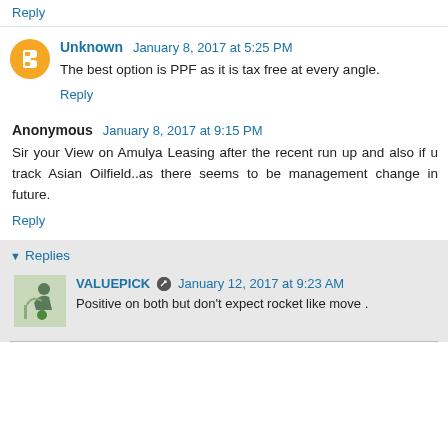Reply
Unknown  January 8, 2017 at 5:25 PM
The best option is PPF as it is tax free at every angle.
Reply
Anonymous  January 8, 2017 at 9:15 PM
Sir your View on Amulya Leasing after the recent run up and also if u track Asian Oilfield..as there seems to be management change in future.
Reply
Replies
VALUEPICK  January 12, 2017 at 9:23 AM
Positive on both but don't expect rocket like move .